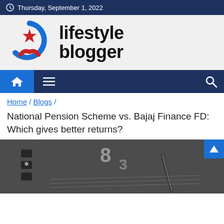Thursday, September 1, 2022
[Figure (logo): Lifestyle Blogger logo with circular blue and red star icon and bold text 'lifestyle blogger']
[Figure (other): Navigation bar with home icon, hamburger menu icon, and search icon on dark navy background]
Home / Blogs /
National Pension Scheme vs. Bajaj Finance FD: Which gives better returns?
[Figure (photo): Close-up photo of a calculator and a pen on financial documents]